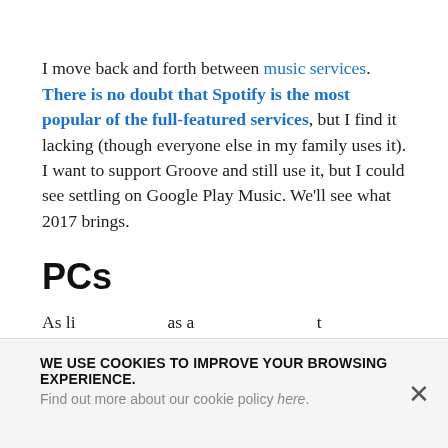I move back and forth between music services. There is no doubt that Spotify is the most popular of the full-featured services, but I find it lacking (though everyone else in my family uses it). I want to support Groove and still use it, but I could see settling on Google Play Music. We'll see what 2017 brings.
PCs
As I move on to a new PC...
WE USE COOKIES TO IMPROVE YOUR BROWSING EXPERIENCE. Find out more about our cookie policy here.